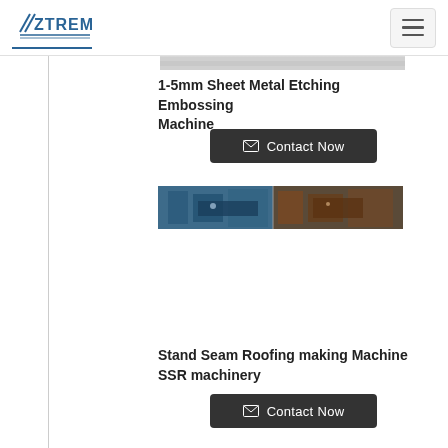ZTREM (logo) with hamburger menu
[Figure (photo): Partial top image of sheet metal machine, mostly cropped]
1-5mm Sheet Metal Etching Embossing Machine
Contact Now (button)
[Figure (photo): Thumbnail image of Stand Seam Roofing making machine / SSR machinery in factory setting]
Stand Seam Roofing making Machine SSR machinery
Contact Now (button)